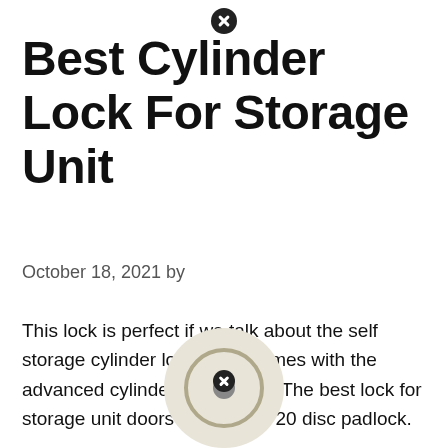Best Cylinder Lock For Storage Unit
October 18, 2021 by
This lock is perfect if we talk about the self storage cylinder locks as it comes with the advanced cylinder technology. The best lock for storage unit doors is the asus 20 disc padlock.
[Figure (photo): Partial view of a disc padlock from above, showing circular disc body with concentric rings, beige/cream colored]